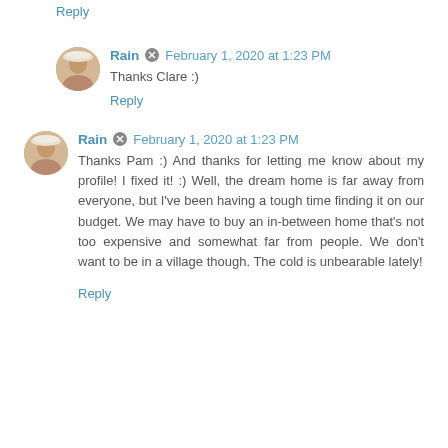Reply
Rain  February 1, 2020 at 1:23 PM
Thanks Clare :)
Reply
Rain  February 1, 2020 at 1:23 PM
Thanks Pam :) And thanks for letting me know about my profile! I fixed it! :) Well, the dream home is far away from everyone, but I've been having a tough time finding it on our budget. We may have to buy an in-between home that's not too expensive and somewhat far from people. We don't want to be in a village though. The cold is unbearable lately!
Reply